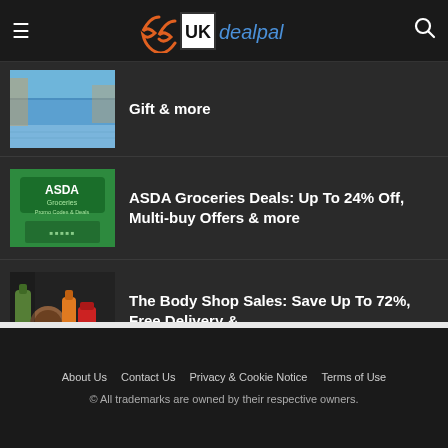UK dealpal
Gift & more
ASDA Groceries Deals: Up To 24% Off, Multi-buy Offers & more
The Body Shop Sales: Save Up To 72%, Free Delivery &...
About Us   Contact Us   Privacy & Cookie Notice   Terms of Use
© All trademarks are owned by their respective owners.